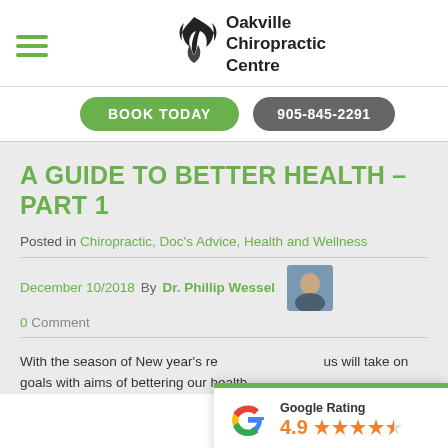[Figure (logo): Oakville Chiropractic Centre logo with flame/leaf icon and text]
BOOK TODAY   905-845-2291
A GUIDE TO BETTER HEALTH – PART 1
Posted in Chiropractic, Doc's Advice, Health and Wellness
December 10/2018 By Dr. Phillip Wessel
0 Comment
With the season of New year's res... us will take on goals with aims of bettering our health.
[Figure (infographic): Google Rating widget showing 4.9 stars out of 5]